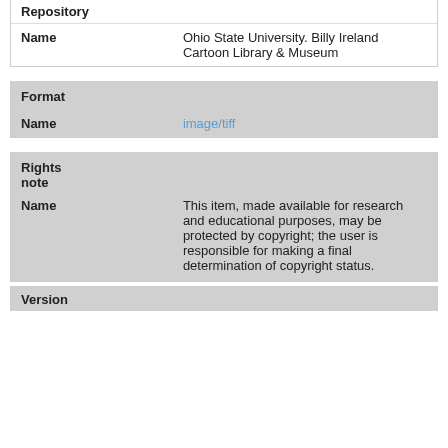| Repository |  |
| --- | --- |
| Name | Ohio State University. Billy Ireland Cartoon Library & Museum |
| Format |  |
| --- | --- |
| Name | image/tiff |
| Rights note |  |
| --- | --- |
| Name | This item, made available for research and educational purposes, may be protected by copyright; the user is responsible for making a final determination of copyright status. |
| Version |  |
| --- | --- |